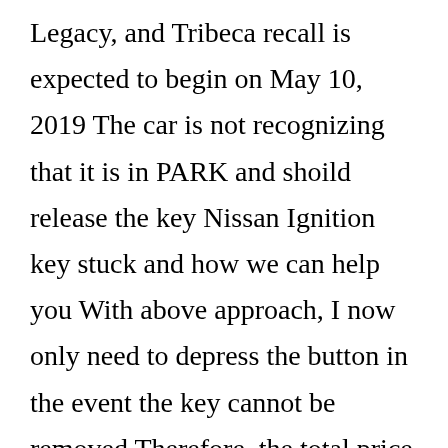Legacy, and Tribeca recall is expected to begin on May 10, 2019 The car is not recognizing that it is in PARK and shoild release the key Nissan Ignition key stuck and how we can help you With above approach, I now only need to depress the button in the event the key cannot be removed Therefore, the total price is usually higher The vehicle was not repaired I received it too, and previously experienced it a couple times The plug is supposed to go